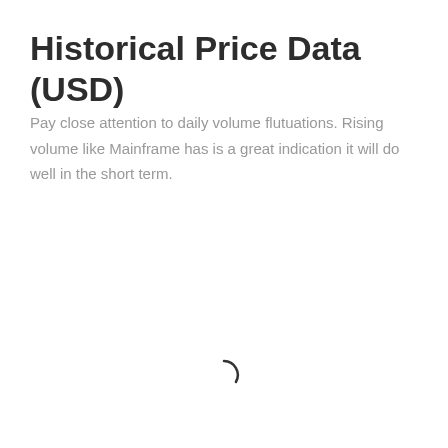Historical Price Data (USD)
Pay close attention to daily volume flutuations. Rising volume like Mainframe has is a great indication it will do well in the short term.
[Figure (other): Loading spinner — a partial arc indicating content is loading]